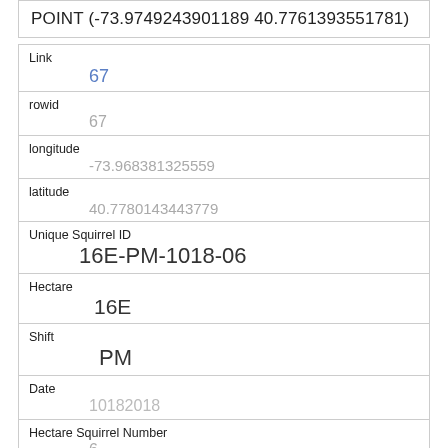POINT (-73.9749243901189 40.7761393551781)
| Field | Value |
| --- | --- |
| Link | 67 |
| rowid | 67 |
| longitude | -73.968381325559 |
| latitude | 40.7780143443779 |
| Unique Squirrel ID | 16E-PM-1018-06 |
| Hectare | 16E |
| Shift | PM |
| Date | 10182018 |
| Hectare Squirrel Number | 6 |
| Age |  |